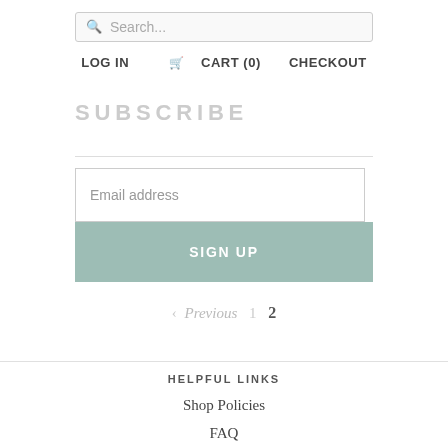Search...
LOG IN   CART (0)   CHECKOUT
SUBSCRIBE
Email address
SIGN UP
< Previous   1   2
HELPFUL LINKS
Shop Policies
FAQ